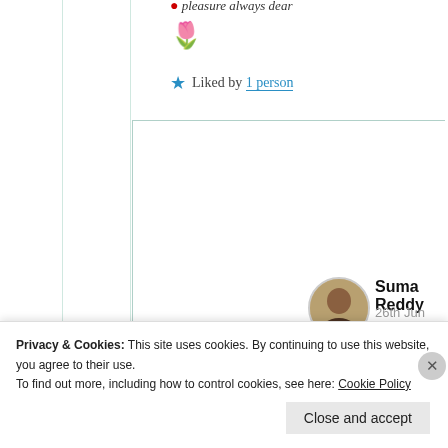pleasure always dear
[Figure (illustration): Tulip flower emoji (🌷)]
★ Liked by 1 person
[Figure (photo): Circular profile photo of Suma Reddy]
Suma Reddy
26th Jun 2021 at 7:02 pm
🤗 ❤️
Privacy & Cookies: This site uses cookies. By continuing to use this website, you agree to their use. To find out more, including how to control cookies, see here: Cookie Policy
Close and accept